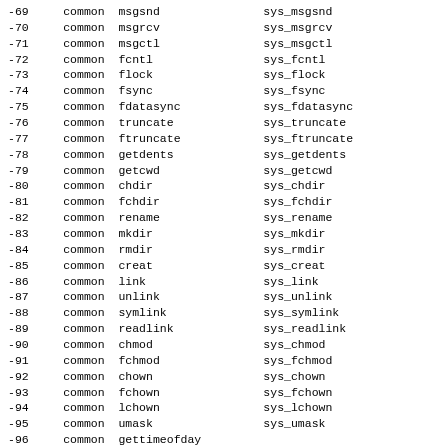| number | abi | name | entry point |
| --- | --- | --- | --- |
| -69 | common | msgsnd | sys_msgsnd |
| -70 | common | msgrcv | sys_msgrcv |
| -71 | common | msgctl | sys_msgctl |
| -72 | common | fcntl | sys_fcntl |
| -73 | common | flock | sys_flock |
| -74 | common | fsync | sys_fsync |
| -75 | common | fdatasync | sys_fdatasync |
| -76 | common | truncate | sys_truncate |
| -77 | common | ftruncate | sys_ftruncate |
| -78 | common | getdents | sys_getdents |
| -79 | common | getcwd | sys_getcwd |
| -80 | common | chdir | sys_chdir |
| -81 | common | fchdir | sys_fchdir |
| -82 | common | rename | sys_rename |
| -83 | common | mkdir | sys_mkdir |
| -84 | common | rmdir | sys_rmdir |
| -85 | common | creat | sys_creat |
| -86 | common | link | sys_link |
| -87 | common | unlink | sys_unlink |
| -88 | common | symlink | sys_symlink |
| -89 | common | readlink | sys_readlink |
| -90 | common | chmod | sys_chmod |
| -91 | common | fchmod | sys_fchmod |
| -92 | common | chown | sys_chown |
| -93 | common | fchown | sys_fchown |
| -94 | common | lchown | sys_lchown |
| -95 | common | umask | sys_umask |
| -96 | common | gettimeofday | sys_gettimeofday |
| -97 | common | getrlimit | sys_getrlimit |